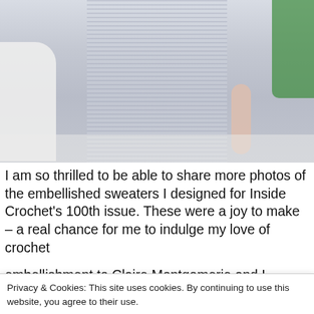[Figure (photo): A person wearing a blue and white vertically striped dress or top, standing indoors with a white sofa on the left and a green chair visible on the right. The photo shows from the neck/shoulder area down to about knee level.]
I am so thrilled to be able to share more photos of the embellished sweaters I designed for Inside Crochet's 100th issue. These were a joy to make – a real chance for me to indulge my love of crochet embellishment. Claire Montgomerie and I worked...
Privacy & Cookies: This site uses cookies. By continuing to use this website, you agree to their use.
To find out more, including how to control cookies, see here: Our Cookie Policy
while the second is a bit wilder and the kind of